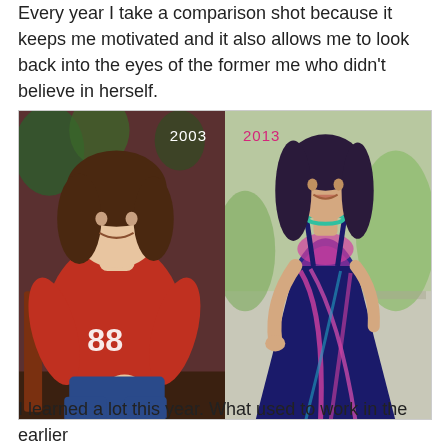Every year I take a comparison shot because it keeps me motivated and it also allows me to look back into the eyes of the former me who didn't believe in herself.
[Figure (photo): Side-by-side before and after photos labeled '2003' (left, woman in red #88 sweatshirt, heavier) and '2013' (right, same woman slimmer in colorful maxi dress)]
I learned a lot this year. What used to work in the earlier